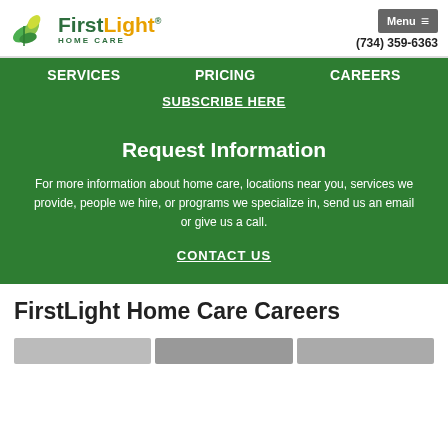FirstLight Home Care — Menu — (734) 359-6363
SERVICES   PRICING   CAREERS
SUBSCRIBE HERE
Request Information
For more information about home care, locations near you, services we provide, people we hire, or programs we specialize in, send us an email or give us a call.
CONTACT US
FirstLight Home Care Careers